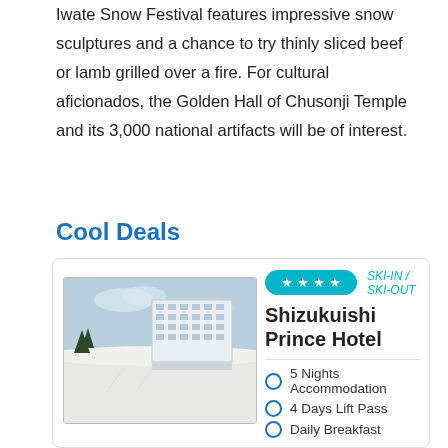Iwate Snow Festival features impressive snow sculptures and a chance to try thinly sliced beef or lamb grilled over a fire. For cultural aficionados, the Golden Hall of Chusonji Temple and its 3,000 national artifacts will be of interest.
Cool Deals
[Figure (photo): Photo of Shizukuishi Prince Hotel — a large white multi-storey hotel building set against a winter ski slope landscape with snow on the ground.]
★★★★  SKI-IN / SKI-OUT
Shizukuishi Prince Hotel
• 5 Nights Accommodation
• 4 Days Lift Pass
• Daily Breakfast
BONUS! Super Early Bird Offer Stay 5 Pay 3!
*Must be booked by 30th September 2022